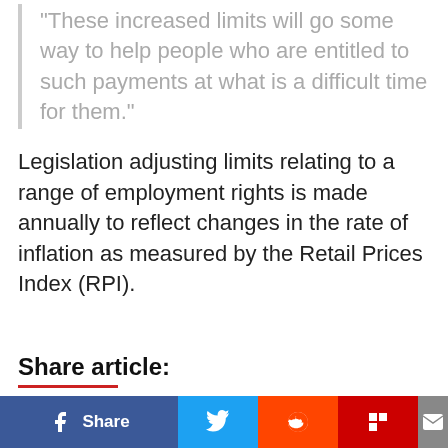"These increased limits will go some way to help people who are entitled to such payments at what is a difficult time for them."
Legislation adjusting limits relating to a range of employment rights is made annually to reflect changes in the rate of inflation as measured by the Retail Prices Index (RPI).
Share article: